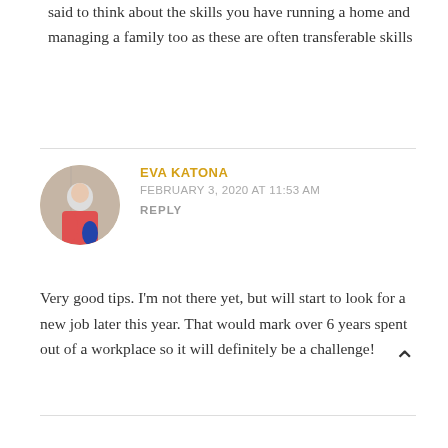said to think about the skills you have running a home and managing a family too as these are often transferable skills
EVA KATONA
FEBRUARY 3, 2020 AT 11:53 AM
REPLY
Very good tips. I'm not there yet, but will start to look for a new job later this year. That would mark over 6 years spent out of a workplace so it will definitely be a challenge!